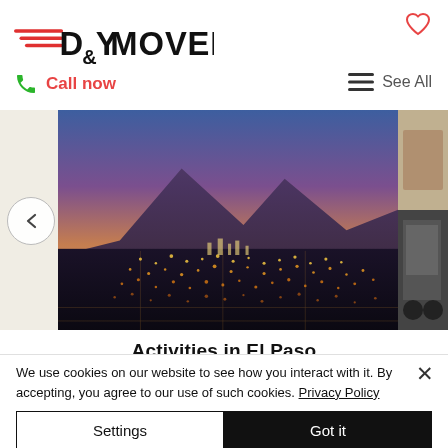[Figure (logo): D&Y Movers logo with red speed lines and bold black text]
[Figure (illustration): Heart/favorite icon outline in red/pink at top right]
Call now
≡  See All
[Figure (photo): El Paso city skyline at night with city lights and purple/blue sky, mountains in background]
Activities in El Paso
We use cookies on our website to see how you interact with it. By accepting, you agree to our use of such cookies. Privacy Policy
Settings
Got it